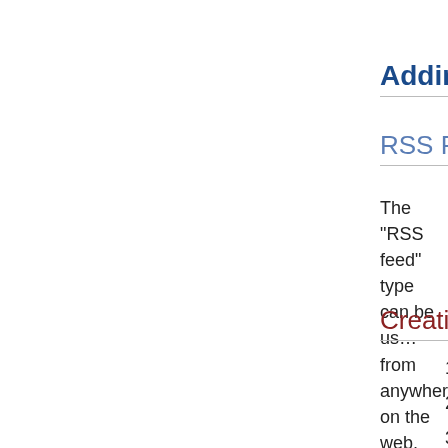a. The screen retu…
Adding Dynamic C…
RSS Feed
The "RSS feed" type can be us… from anywhere on the web, pa… site.
Creating
1. Make sure you are logg…
2. Navigate to the page yo…
3. Locate the "Edit Consol…
a. The screen now…
4. Click the "RSS feed" lin…
a. The screen now…
5. In the "Title" text field, g…
◦ Accurately convey w…
6. Click the button of the t…
7. Choose the source of t…